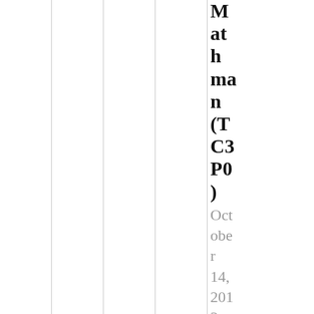Mathman (TC3P0)
October 14, 2013 at 7:51